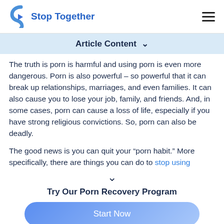Stop Together
Article Content
The truth is porn is harmful and using porn is even more dangerous. Porn is also powerful – so powerful that it can break up relationships, marriages, and even families. It can also cause you to lose your job, family, and friends. And, in some cases, porn can cause a loss of life, especially if you have strong religious convictions. So, porn can also be deadly.
The good news is you can quit your “porn habit.” More specifically, there are things you can do to stop using
Try Our Porn Recovery Program
Start Now